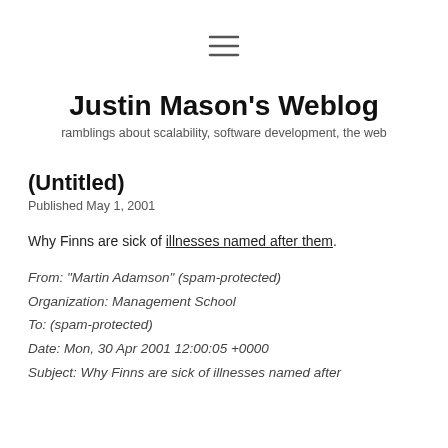[Figure (other): Hamburger menu icon (three horizontal lines)]
Justin Mason's Weblog
ramblings about scalability, software development, the web
(Untitled)
Published May 1, 2001
Why Finns are sick of illnesses named after them.
From: “Martin Adamson” (spam-protected)
Organization: Management School
To: (spam-protected)
Date: Mon, 30 Apr 2001 12:00:05 +0000
Subject: Why Finns are sick of illnesses named after